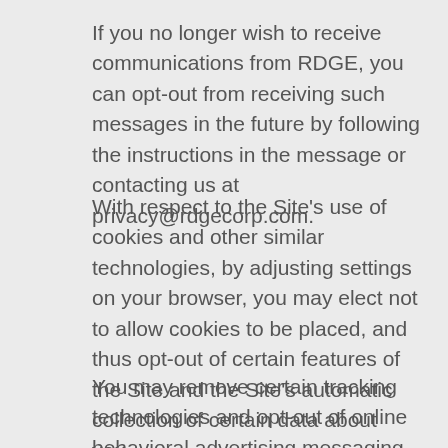If you no longer wish to receive communications from RDGE, you can opt-out from receiving such messages in the future by following the instructions in the message or contacting us at privacy@rdgecorp.com.
With respect to the Site's use of cookies and other similar technologies, by adjusting settings on your browser, you may elect not to allow cookies to be placed, and thus opt-out of certain features of the Site and the Site's automatic collection of certain data about you.
You may remove certain tracking technologies and opt-out of online behavioral advertising messaging by using the opt-out tools available from the Digital